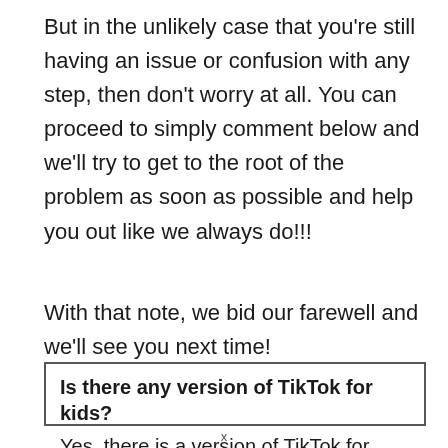But in the unlikely case that you're still having an issue or confusion with any step, then don't worry at all. You can proceed to simply comment below and we'll try to get to the root of the problem as soon as possible and help you out like we always do!!!
With that note, we bid our farewell and we'll see you next time!
Is there any version of TikTok for kids?
Yes, there is a version of TikTok for kids under the age of 13 in which the...
x